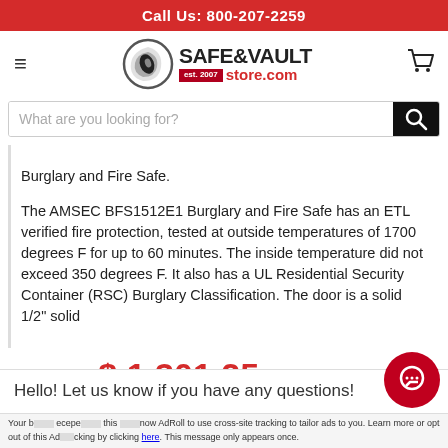Call Us: 800-207-2259
[Figure (logo): Safe & Vault Store.com logo with swirl icon and est. 2007]
What are you looking for?
Burglary and Fire Safe.

The AMSEC BFS1512E1 Burglary and Fire Safe has an ETL verified fire protection, tested at outside temperatures of 1700 degrees F for up to 60 minutes. The inside temperature did not exceed 350 degrees F. It also has a UL Residential Security Container (RSC) Burglary Classification. The door is a solid 1/2" solid
$ 4,735.00  $ 1,301.25
Hello! Let us know if you have any questions!
Your b... accept... this ...now AdRoll to use cross-site tracking to tailor ads to you. Learn more or opt out of this Ad...cking by clicking here. This message only appears once.